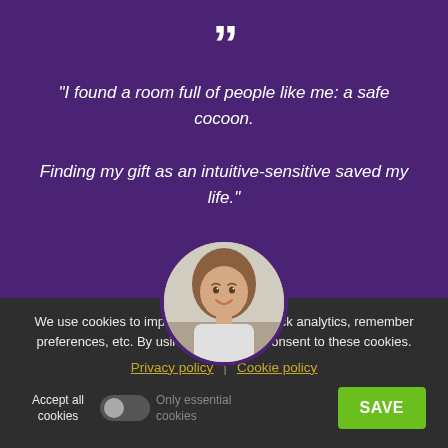“I found a room full of people like me: a safe cocoon.

Finding my gift as an intuitive-sensitive saved my life.”
[Figure (photo): Circular portrait photo of a smiling woman with shoulder-length brown hair]
We use cookies to improve our service, track analytics, remember preferences, etc. By using our site, you consent to these cookies.
Privacy policy | Cookie policy
Accept all cookies   Only essential cookies   SAVE